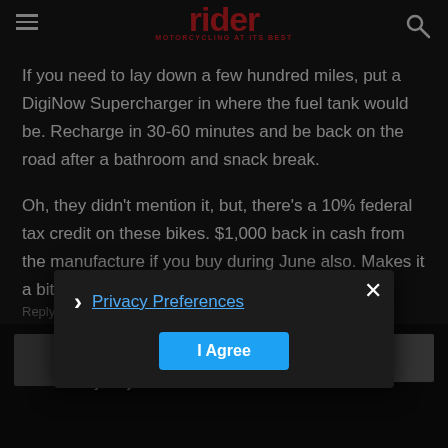rider — MOTORCYCLING AT ITS BEST
If you need to lay down a few hundred miles, put a DigiNow Supercharger in where the fuel tank would be. Recharge in 30-60 minutes and be back on the road after a bathroom and snack break.
Oh, they didn't mention it, but, there's a 10% federal tax credit on these bikes. $1,000 back in cash from the manufacture if you buy during June also. Makes it a bit cheaper.
Reply
Randy
August 9, 2016 At 9:...
Anybody north of Mason Dixon want to ride
Privacy Preferences
I Agree